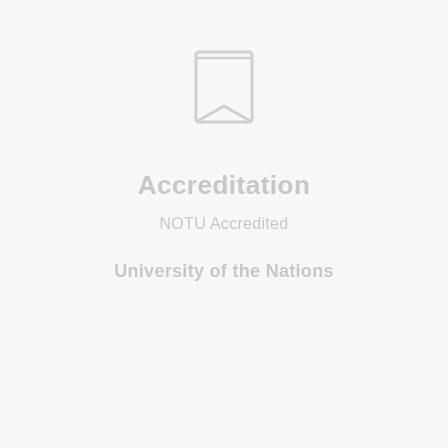[Figure (illustration): A bookmark/ribbon icon outline in light gray, centered near the top of the page]
Accreditation
NOTU Accredited
University of the Nations